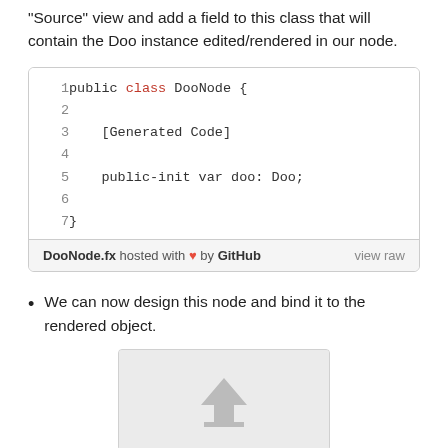"Source" view and add a field to this class that will contain the Doo instance edited/rendered in our node.
1  public class DooNode {
2
3      [Generated Code]
4
5      public-init var doo: Doo;
6
7  }
DooNode.fx hosted with ❤ by GitHub  view raw
We can now design this node and bind it to the rendered object.
[Figure (screenshot): A screenshot placeholder showing a grey box with an upload/image icon arrow pointing upward, suggesting an image or screenshot to be loaded.]